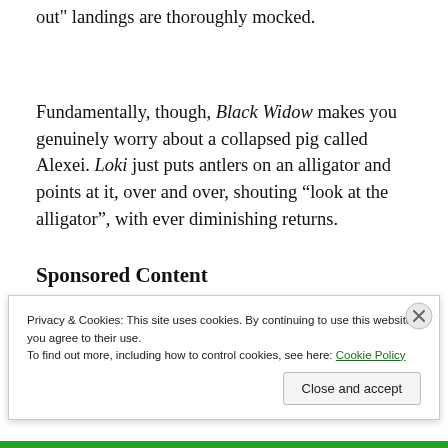out" landings are thoroughly mocked.
Fundamentally, though, Black Widow makes you genuinely worry about a collapsed pig called Alexei. Loki just puts antlers on an alligator and points at it, over and over, shouting “look at the alligator”, with ever diminishing returns.
Sponsored Content
Privacy & Cookies: This site uses cookies. By continuing to use this website, you agree to their use.
To find out more, including how to control cookies, see here: Cookie Policy